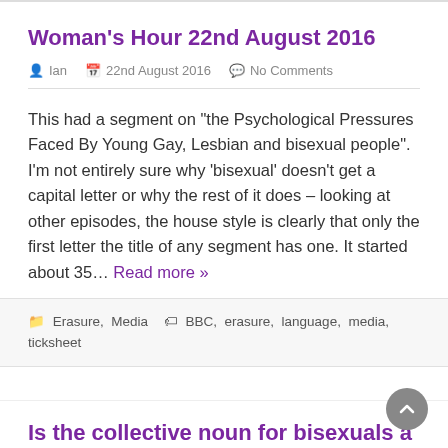Woman's Hour 22nd August 2016
Ian  22nd August 2016  No Comments
This had a segment on "the Psychological Pressures Faced By Young Gay, Lesbian and bisexual people". I'm not entirely sure why 'bisexual' doesn't get a capital letter or why the rest of it does – looking at other episodes, the house style is clearly that only the first letter the title of any segment has one. It started about 35... Read more »
Erasure, Media  BBC, erasure, language, media, ticksheet
Is the collective noun for bisexuals a